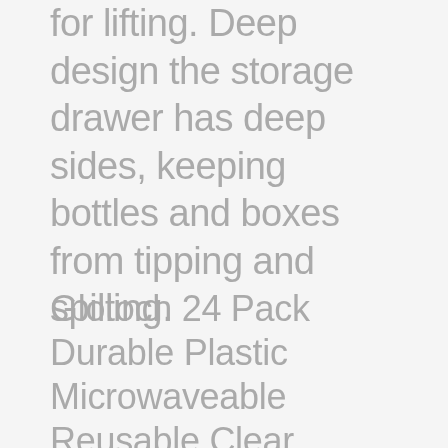for lifting. Deep design the storage drawer has deep sides, keeping bottles and boxes from tipping and spilling.
Glotoch 24 Pack Durable Plastic Microwaveable Reusable Clear Takeout Travel Deli Food Storage Containers with Lids, Dishwasher and Freezer Safe, BPA Free (16oz) Glotoch 24 Pack Durable Plastic Microwaveable Reusable Clear Takeout Travel Deli Food Storage Containers with Lids, Dishwasher and